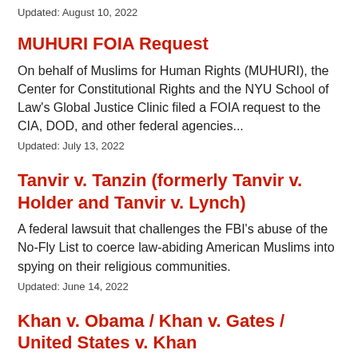Updated: August 10, 2022
MUHURI FOIA Request
On behalf of Muslims for Human Rights (MUHURI), the Center for Constitutional Rights and the NYU School of Law's Global Justice Clinic filed a FOIA request to the CIA, DOD, and other federal agencies...
Updated: July 13, 2022
Tanvir v. Tanzin (formerly Tanvir v. Holder and Tanvir v. Lynch)
A federal lawsuit that challenges the FBI's abuse of the No-Fly List to coerce law-abiding American Muslims into spying on their religious communities.
Updated: June 14, 2022
Khan v. Obama / Khan v. Gates / United States v. Khan